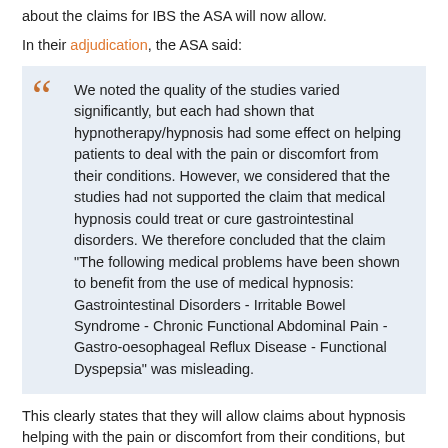about the claims for IBS the ASA will now allow.
In their adjudication, the ASA said:
We noted the quality of the studies varied significantly, but each had shown that hypnotherapy/hypnosis had some effect on helping patients to deal with the pain or discomfort from their conditions. However, we considered that the studies had not supported the claim that medical hypnosis could treat or cure gastrointestinal disorders. We therefore concluded that the claim "The following medical problems have been shown to benefit from the use of medical hypnosis: Gastrointestinal Disorders - Irritable Bowel Syndrome - Chronic Functional Abdominal Pain - Gastro-oesophageal Reflux Disease - Functional Dyspepsia" was misleading.
This clearly states that they will allow claims about hypnosis helping with the pain or discomfort from their conditions, but not claims about the actual conditions themselves. This is an important point advertisers will need to take on board if they are to stay on the right side of the CAP Code.
Marigold therapy update
You may also remember our other complaint about claims made in another RLHIM leaflet was for their marigold therapy for various foot problems. After providing evidence to substantiate their claims, the RLHIM is clearly with how the first and the concerns informed.